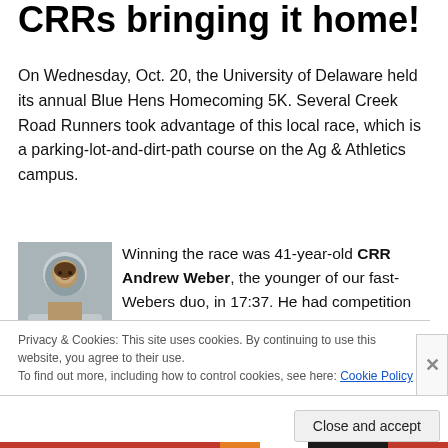CRRs bringing it home!
On Wednesday, Oct. 20, the University of Delaware held its annual Blue Hens Homecoming 5K. Several Creek Road Runners took advantage of this local race, which is a parking-lot-and-dirt-path course on the Ag & Athletics campus.
[Figure (photo): Headshot of Andrew Weber, a man in a dress shirt and tie]
Winning the race was 41-year-old CRR Andrew Weber, the younger of our fast-Webers duo, in 17:37. He had competition from another runner in his age group but won
Privacy & Cookies: This site uses cookies. By continuing to use this website, you agree to their use.
To find out more, including how to control cookies, see here: Cookie Policy